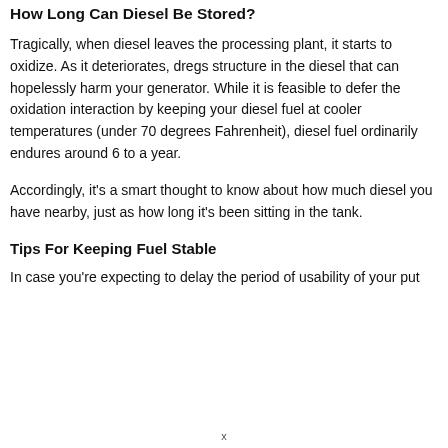How Long Can Diesel Be Stored?
Tragically, when diesel leaves the processing plant, it starts to oxidize. As it deteriorates, dregs structure in the diesel that can hopelessly harm your generator. While it is feasible to defer the oxidation interaction by keeping your diesel fuel at cooler temperatures (under 70 degrees Fahrenheit), diesel fuel ordinarily endures around 6 to a year.
Accordingly, it's a smart thought to know about how much diesel you have nearby, just as how long it's been sitting in the tank.
Tips For Keeping Fuel Stable
In case you're expecting to delay the period of usability of your put
x